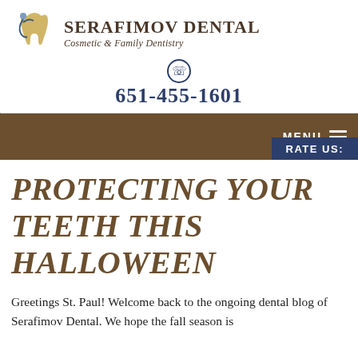[Figure (logo): Serafimov Dental logo with stylized tooth and figure icon, brand name 'SERAFIMOV DENTAL' and tagline 'Cosmetic & Family Dentistry']
651-455-1601
[Figure (screenshot): Brown navigation bar with MENU button and hamburger icon on right, and a 'RATE US:' button in navy blue partially visible]
PROTECTING YOUR TEETH THIS HALLOWEEN
Greetings St. Paul! Welcome back to the ongoing dental blog of Serafimov Dental. We hope the fall season is